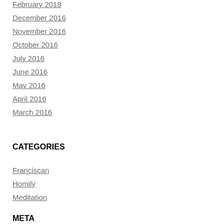February 2018
December 2016
November 2016
October 2016
July 2016
June 2016
May 2016
April 2016
March 2016
CATEGORIES
Franciscan
Homily
Meditation
META